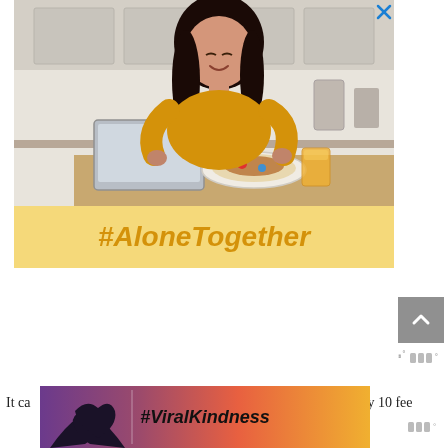[Figure (photo): Advertisement banner showing a smiling young Asian woman in a yellow/mustard top sitting at a kitchen table with a laptop, cutting food on a plate with orange juice beside her. Below the photo is a yellow banner with the hashtag #AloneTogether in orange italic bold text. A blue X close button appears in the top right corner.]
[Figure (other): Gray scroll-to-top button with an upward-pointing chevron arrow]
ᵐᵒᵒ
It ca... essarily bas... y 10 fee...
[Figure (photo): Advertisement banner with #ViralKindness. Left side shows hands forming a heart shape silhouette against a purple/orange sunset sky. Right side has the hashtag #ViralKindness in bold italic black text on an orange-yellow gradient background. A blue X close button appears in the top right.]
ᵐᵒᵒ